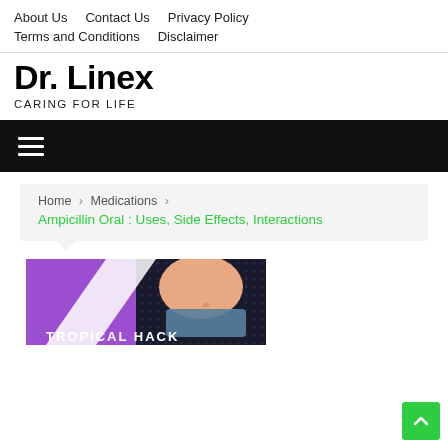About Us   Contact Us   Privacy Policy   Terms and Conditions   Disclaimer
Dr. Linex
CARING FOR LIFE
[Figure (other): Black navigation bar with hamburger menu icon (three horizontal white lines)]
Home > Medications > Ampicillin Oral : Uses, Side Effects, Interactions
[Figure (illustration): Promotional image with purple and black background showing a woman's midsection in a blue bikini bottom, with text 'TROPICAL HACK' at the bottom]